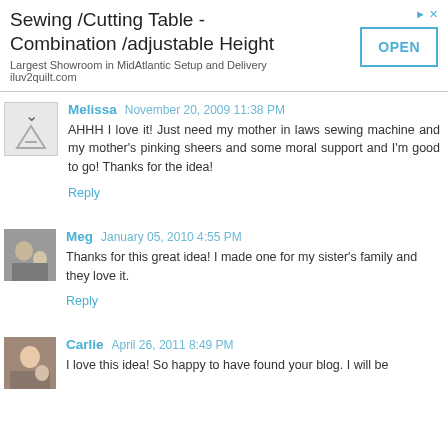[Figure (other): Advertisement banner: Sewing/Cutting Table - Combination/adjustable Height. Largest Showroom in MidAtlantic Setup and Delivery. iluv2quilt.com. OPEN button.]
Melissa  November 20, 2009 11:38 PM
AHHH I love it! Just need my mother in laws sewing machine and my mother's pinking sheers and some moral support and I'm good to go! Thanks for the idea!
Reply
Meg  January 05, 2010 4:55 PM
Thanks for this great idea! I made one for my sister's family and they love it.
Reply
Carlie  April 26, 2011 8:49 PM
I love this idea! So happy to have found your blog. I will be